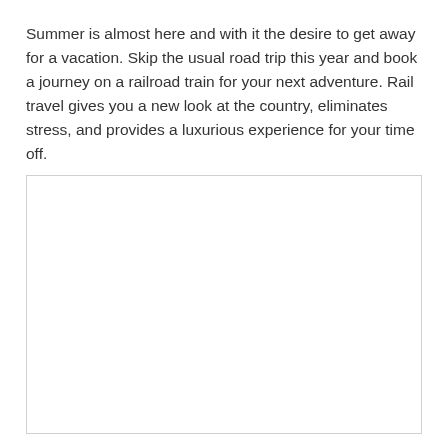Summer is almost here and with it the desire to get away for a vacation. Skip the usual road trip this year and book a journey on a railroad train for your next adventure. Rail travel gives you a new look at the country, eliminates stress, and provides a luxurious experience for your time off.
[Figure (other): A large empty white rectangular box with a light gray border, serving as a placeholder for an image.]